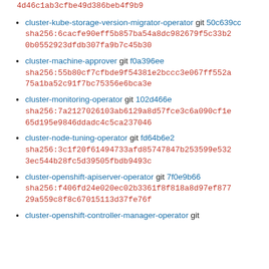sha256:cc56rdadd71d5513d407a0bc0564c611f133a4d46c1ab3cfbe49d386beb4f9b9
cluster-kube-storage-version-migrator-operator git 50c639cc sha256:6cacfe90eff5b857ba54a8dc982679f5c33b20b0552923dfdb307fa9b7c45b30
cluster-machine-approver git f0a396ee sha256:55b80cf7cfbde9f54381e2bccc3e067ff552a75a1ba52c91f7bc75356e6bca3e
cluster-monitoring-operator git 102d466e sha256:7a2127026103ab6129a8d57fce3c6a090cf1e65d195e9846ddadc4c5ca237046
cluster-node-tuning-operator git fd64b6e2 sha256:3c1f20f61494733afd85747847b253599e5323ec544b28fc5d39505fbdb9493c
cluster-openshift-apiserver-operator git 7f0e9b66 sha256:f406fd24e020ec02b3361f8f818a8d97ef87729a559c8f8c67015113d37fe76f
cluster-openshift-controller-manager-operator git